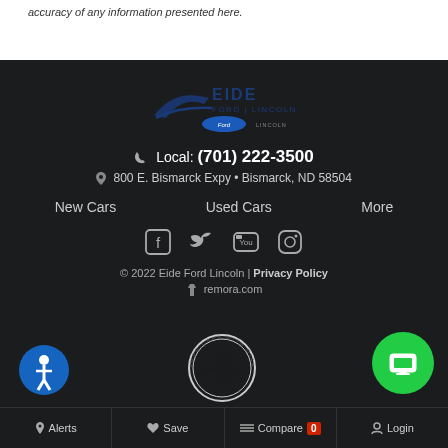accuracy of any information presented here.
[Figure (logo): Eide Ford Lincoln logo with Ford oval badge]
Local: (701) 222-3500
800 E. Bismarck Expy • Bismarck, ND 58504
New Cars   Used Cars   More
[Figure (illustration): Social media icons: Facebook, Twitter, YouTube, Instagram]
© 2022 Eide Ford Lincoln | Privacy Policy
remora.com
[Figure (illustration): Accessibility icon - blue circle with person symbol]
[Figure (illustration): ADA Compliant badge - Americans with Disabilities Act]
[Figure (illustration): Green circle mobile phone button]
Alerts  Save  Compare 0  Login